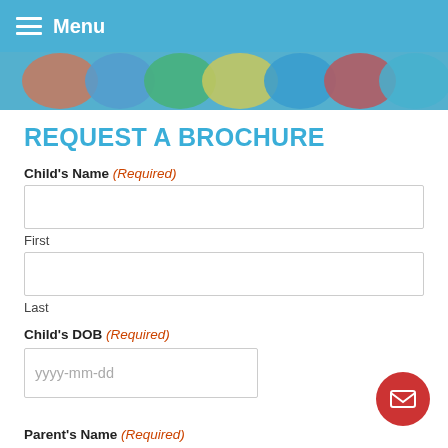Menu
[Figure (photo): Colorful group of children, some wearing a blue hat, cropped across the top of the form page]
REQUEST A BROCHURE
Child's Name (Required)
First
Last
Child's DOB (Required)
yyyy-mm-dd
Parent's Name (Required)